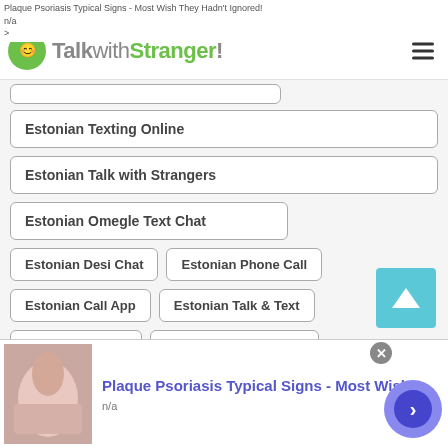Plaque Psoriasis Typical Signs - Most Wish They Hadn't Ignored!
n/a
>
[Figure (logo): TalkwithStranger! logo with green speech bubble icon and text]
Estonian Texting Online
Estonian Talk with Strangers
Estonian Omegle Text Chat
Estonian Desi Chat
Estonian Phone Call
Estonian Call App
Estonian Talk & Text
Estonian Calling
Estonian Omegle Girls
Estonian Call App
Estonian Sites Like Omegle
Plaque Psoriasis Typical Signs - Most Wish
n/a